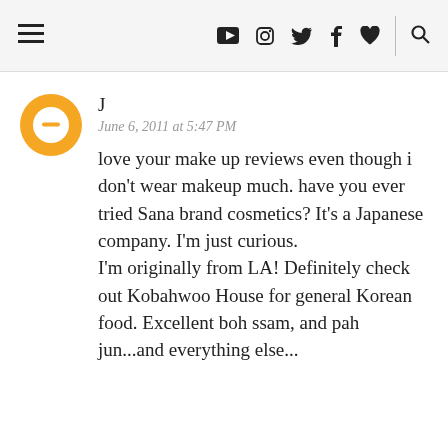≡  ▶  📷  🐦  f  ♥  🔍
[Figure (logo): Orange circular Blogger avatar icon with white circle and dash symbol in center]
J
June 6, 2011 at 5:47 PM
love your make up reviews even though i don't wear makeup much. have you ever tried Sana brand cosmetics? It's a Japanese company. I'm just curious.
I'm originally from LA! Definitely check out Kobahwoo House for general Korean food. Excellent boh ssam, and pah jun...and everything else...